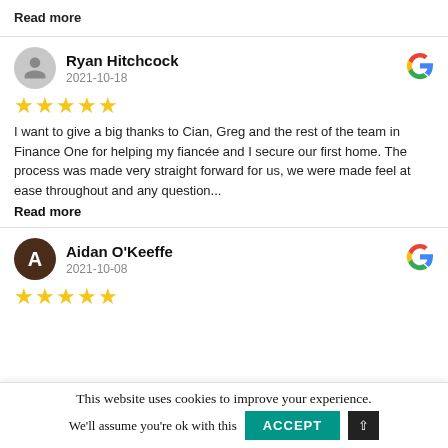Read more
Ryan Hitchcock
2021-10-18
★★★★★
I want to give a big thanks to Cian, Greg and the rest of the team in Finance One for helping my fiancée and I secure our first home. The process was made very straight forward for us, we were made feel at ease throughout and any question...
Read more
Aidan O'Keeffe
2021-10-08
★★★★★
This website uses cookies to improve your experience.
We'll assume you're ok with this
ACCEPT